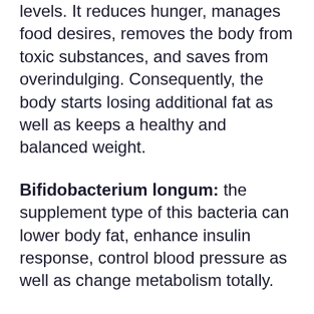levels. It reduces hunger, manages food desires, removes the body from toxic substances, and saves from overindulging. Consequently, the body starts losing additional fat as well as keeps a healthy and balanced weight.
Bifidobacterium longum: the supplement type of this bacteria can lower body fat, enhance insulin response, control blood pressure as well as change metabolism totally.
Lactobacillus Plantarum: while various other LeanBiome active ingredients service weight loss, this microbial strain particularly assists get the weight back. It regulates blood sugar degrees as well as makes sure there is no free-floating sugar in the body.